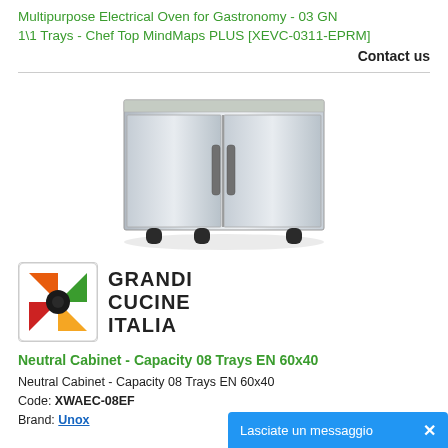Multipurpose Electrical Oven for Gastronomy - 03 GN 1\1 Trays - Chef Top MindMaps PLUS [XEVC-0311-EPRM]
Contact us
[Figure (photo): Product photo of a stainless steel neutral cabinet with two doors and black legs]
[Figure (logo): Grandi Cucine Italia brand logo with colorful pinwheel icon]
Neutral Cabinet - Capacity 08 Trays EN 60x40
Neutral Cabinet - Capacity 08 Trays EN 60x40
Code: XWAEC-08EF
Brand: Unox
Lasciate un messaggio